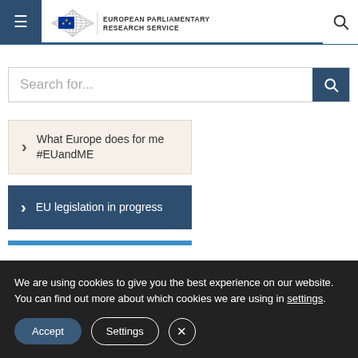European Parliamentary Research Service
Search for...
What Europe does for me #EUandME
EU legislation in progress
We are using cookies to give you the best experience on our website.
You can find out more about which cookies we are using in settings.